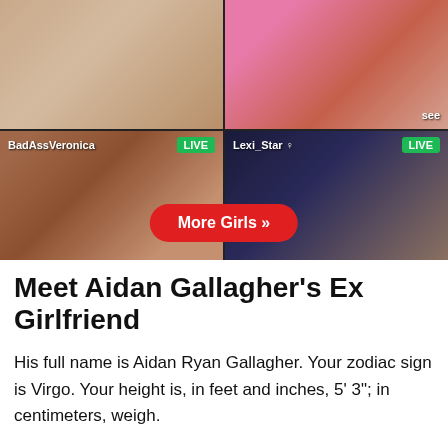[Figure (photo): Advertisement banner showing a 2x2 grid of live webcam thumbnails. Top-left: person lying down in white underwear. Top-right: close-up with pink toy, labeled 'see'. Bottom-left: 'BadAssVeronica' LIVE badge, woman in fishnet. Bottom-right: 'Lexi_Star' LIVE badge, person in teal top. A red 'More Girls >>' button overlays the bottom center.]
Meet Aidan Gallagher’s Ex Girlfriend
His full name is Aidan Ryan Gallagher. Your zodiac sign is Virgo. Your height is, in feet and inches, 5’ 3”; in centimeters, weigh.